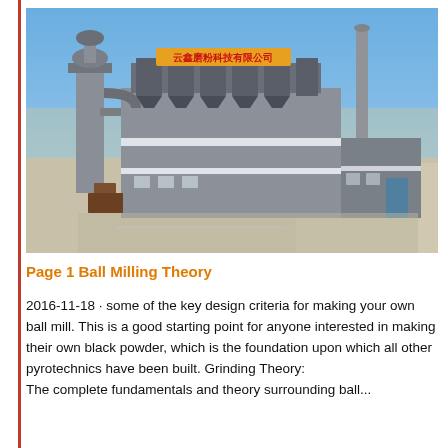[Figure (photo): Aerial/elevated view of an industrial ball milling or pyrotechnics manufacturing facility. Large grey multi-storey building with industrial equipment, dust collection units, a tall smokestack, and a sign with Chinese characters on top. Set in an arid, flat landscape under a blue sky.]
Page 1 Ball Milling Theory
2016-11-18 · some of the key design criteria for making your own ball mill. This is a good starting point for anyone interested in making their own black powder, which is the foundation upon which all other pyrotechnics have been built. Grinding Theory: The complete fundamentals and theory surrounding ball...